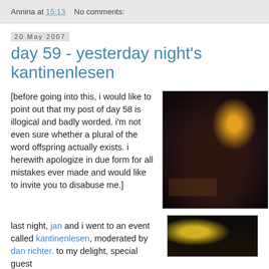Annina at 15:13    No comments:
20 May 2007
day 59 - yesterday night's kantinenlesen
[before going into this, i would like to point out that my post of day 58 is illogical and badly worded. i'm not even sure whether a plural of the word offspring actually exists. i herewith apologize in due form for all mistakes ever made and would like to invite you to disabuse me.]
[Figure (photo): Dark interior photo of people sitting at tables in a dimly lit venue with a warm light source visible in the upper area]
last night, jan and i went to an event called kantinenlesen, moderated by dan richter. to my delight, special guest
[Figure (photo): Dark photo with yellow/warm light, partial view of a person or object]